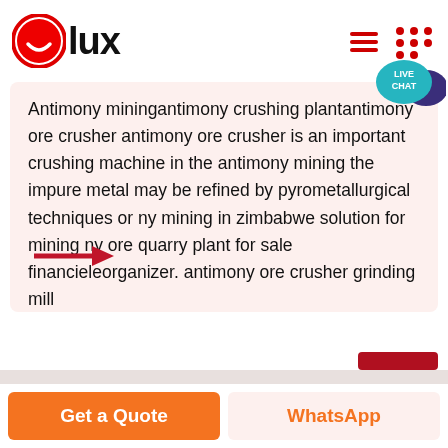[Figure (logo): Olux logo with red circle containing white smile icon and bold text 'lux']
Antimony miningantimony crushing plantantimony ore crusher antimony ore crusher is an important crushing machine in the antimony mining the impure metal may be refined by pyrometallurgical techniques or ny mining in zimbabwe solution for mining ny ore quarry plant for sale financieleorganizer. antimony ore crusher grinding mill
[Figure (illustration): Red right-pointing arrow]
[Figure (illustration): Live Chat speech bubble icon in teal/cyan color with dark blue chat bubble]
Get a Quote
WhatsApp